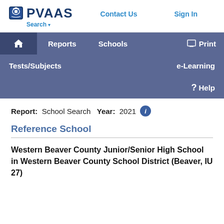PVAAS | Search | Contact Us | Sign In
[Figure (logo): PVAAS logo with graduation cap shield icon]
Reports   Schools   Print   Tests/Subjects   e-Learning   Help
Report: School Search   Year: 2021
Reference School
Western Beaver County Junior/Senior High School in Western Beaver County School District (Beaver, IU 27)